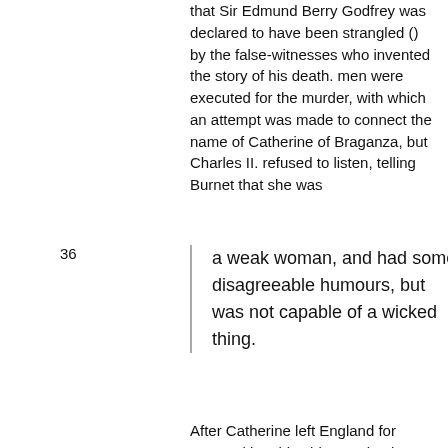that Sir Edmund Berry Godfrey was declared to have been strangled () by the false-witnesses who invented the story of his death. men were executed for the murder, with which an attempt was made to connect the name of Catherine of Braganza, but Charles II. refused to listen, telling Burnet that she was
36
a weak woman, and had some disagreeable humours, but was not capable of a wicked thing.
After Catherine left England for Portugal in , this old Strand palace continued to be regarded as the